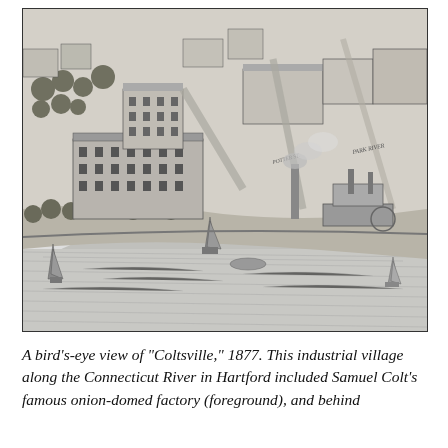[Figure (illustration): A bird's-eye view engraving of 'Coltsville,' 1877, showing an industrial village along the Connecticut River in Hartford. The image depicts large factory buildings, streets, trees, and several sailing vessels and steamboats on the river.]
A bird's-eye view of "Coltsville," 1877. This industrial village along the Connecticut River in Hartford included Samuel Colt's famous onion-domed factory (foreground), and behind